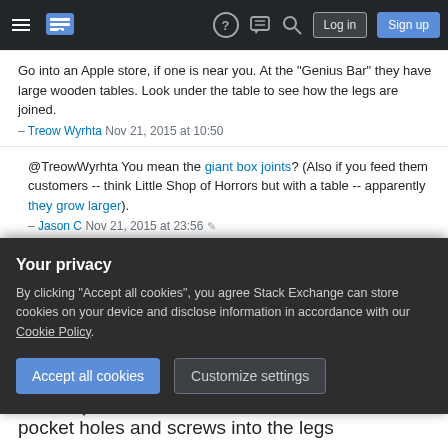Stack Exchange navigation bar with hamburger menu, logo, help, chat, search icons, Log in and Sign up buttons
Go into an Apple store, if one is near you. At the "Genius Bar" they have large wooden tables. Look under the table to see how the legs are joined.
– Treow Wyrhta Nov 21, 2015 at 10:50
@TreowWyrhta You mean the giant box joints? (Also if you feed them customers -- think Little Shop of Horrors but with a table -- apparently they grow larger).
– Jason C Nov 21, 2015 at 23:56
Add a comment
2 Answers
Sorted by:
Your privacy
By clicking "Accept all cookies", you agree Stack Exchange can store cookies on your device and disclose information in accordance with our Cookie Policy.
Accept all cookies  Customize settings
pocket holes and screws into the legs